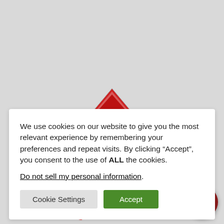[Figure (logo): Red house/roof logo partially visible behind cookie consent dialog]
We use cookies on our website to give you the most relevant experience by remembering your preferences and repeat visits. By clicking “Accept”, you consent to the use of ALL the cookies.
Do not sell my personal information.
Cookie Settings
Accept
[Figure (infographic): Red map pin / location marker icon]
701 Performance Drive
Cedar Falls, Iowa  50613 USA
[Figure (infographic): Red telephone/phone icon]
319-266-1721
[Figure (infographic): Dark red circular chat/message bubble button in bottom-right corner]